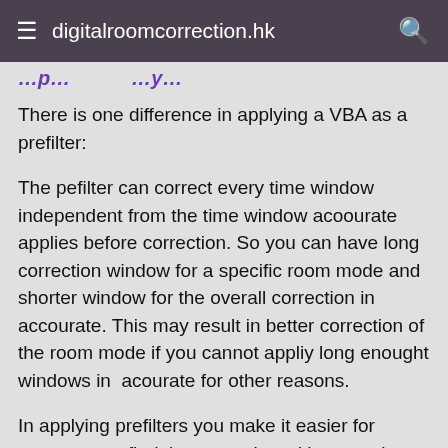≡  digitalroomcorrection.hk  🔍
…p… …y…
There is one difference in applying a VBA as a prefilter:
The pefilter can correct every time window independent from the time window acoourate applies before correction. So you can have long correction window for a specific room mode and shorter window for the overall correction in accourate. This may result in better correction of the room mode if you cannot appliy long enought windows in  acourate for other reasons.
In applying prefilters you make it easier for accourate to find the correction without getting unstable results, because you have allready